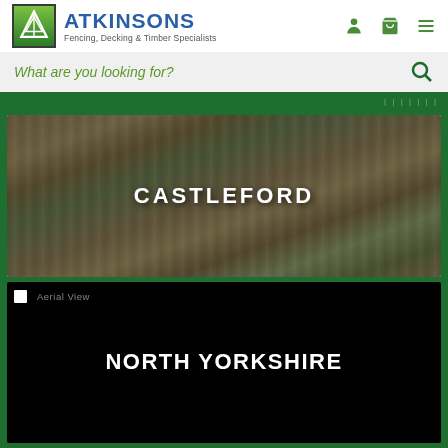ATKINSONS Fencing, Decking & Timber Specialists
What are you looking for?
[Figure (photo): Photo of Castleford fencing display area with wooden panels and plants]
CASTLEFORD
[Figure (photo): Black background card for North Yorkshire with Aerial View label]
NORTH YORKSHIRE